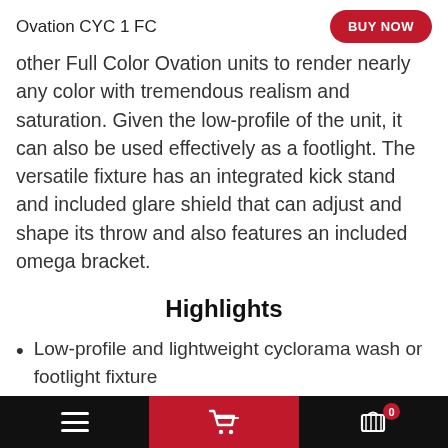Ovation CYC 1 FC
other Full Color Ovation units to render nearly any color with tremendous realism and saturation. Given the low-profile of the unit, it can also be used effectively as a footlight. The versatile fixture has an integrated kick stand and included glare shield that can adjust and shape its throw and also features an included omega bracket.
Highlights
Low-profile and lightweight cyclorama wash or footlight fixture
Display a full spectrum of hues with RGBAL LEDs for theatre, film and production